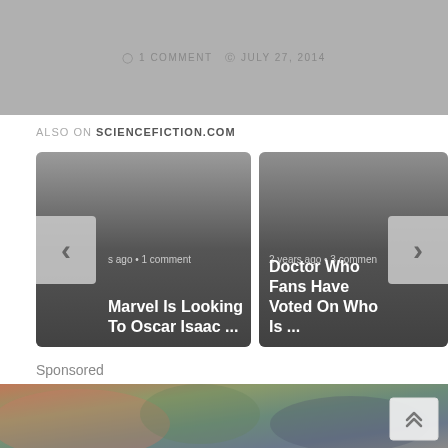[Figure (screenshot): Top gray banner with comment and date text: '1 COMMENT · JULY 27, 2014']
ALSO ON SCIENCEFICTION.COM
[Figure (screenshot): Card 1: Marvel Is Looking To Oscar Isaac ... (2 years ago • 1 comment) with left navigation arrow]
[Figure (screenshot): Card 2: Doctor Who Fans Have Voted On Who Is ... (2 years ago • 3 comments) with right navigation arrow]
Sponsored
[Figure (photo): Blurred sponsored image showing person in flannel shirt with food/drink items]